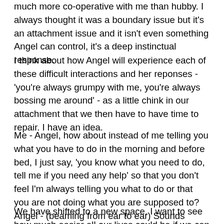much more co-operative with me than hubby. I always thought it was a boundary issue but it's an attachment issue and it isn't even something Angel can control, it's a deep instinctual response.
I think about how Angel will experience each of these difficult interactions and her reponses - 'you're always grumpy with me, you're always bossing me around' - as a little chink in our attachment that we then have to have time to repair. I have an idea.
Me - Angel, how about instead of me telling you what you have to do in the morning and before bed, I just say, 'you know what you need to do, tell me if you need any help' so that you don't feel I'm always telling you what to do or that you are not doing what you are supposed to? Angel - (beaming from ear to ear) Sounds great!
We have shifted to a new space. I want to see how much easier all our lives could be if we can maintain the